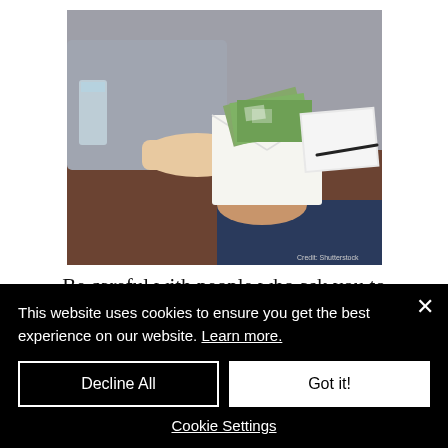[Figure (photo): Two people at a desk exchanging an envelope filled with cash (dollar bills). One person in a grey outfit hands the envelope to another in a dark suit. A glass of water and notebook are visible on the wooden desk. Credit: Shutterstock.]
Be careful with people who ask you to take big risks and promise huge rewards
This website uses cookies to ensure you get the best experience on our website. Learn more.
Decline All
Got it!
Cookie Settings